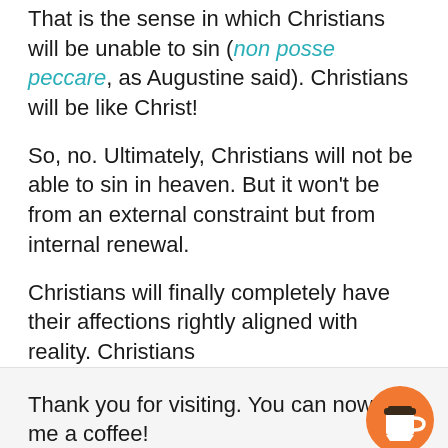That is the sense in which Christians will be unable to sin (non posse peccare, as Augustine said). Christians will be like Christ!
So, no. Ultimately, Christians will not be able to sin in heaven. But it won't be from an external constraint but from internal renewal.
Christians will finally completely have their affections rightly aligned with reality. Christians
Thank you for visiting. You can now buy me a coffee!
Share if you care 🙂